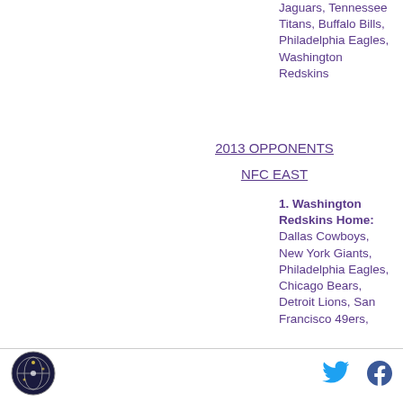Jaguars, Tennessee Titans, Buffalo Bills, Philadelphia Eagles, Washington Redskins
2013 OPPONENTS
NFC EAST
1. Washington Redskins Home: Dallas Cowboys, New York Giants, Philadelphia Eagles, Chicago Bears, Detroit Lions, San Francisco 49ers,
footer with logo and social icons